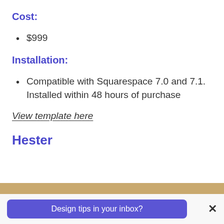Cost:
$999
Installation:
Compatible with Squarespace 7.0 and 7.1. Installed within 48 hours of purchase
View template here
Hester
[Figure (other): Golden/tan horizontal bar decorative strip]
Design tips in your inbox?